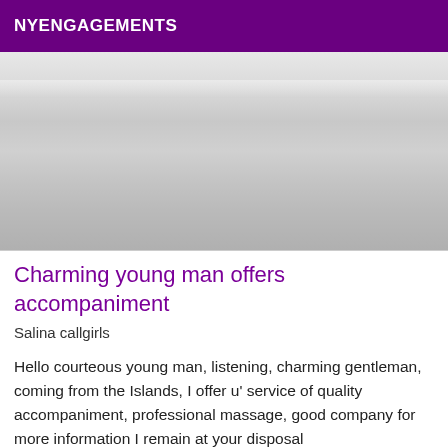NYENGAGEMENTS
[Figure (photo): A light grey/white background image, possibly a blank or blurred surface, serving as a placeholder or decorative image.]
Charming young man offers accompaniment
Salina callgirls
Hello courteous young man, listening, charming gentleman, coming from the Islands, I offer u' service of quality accompaniment, professional massage, good company for more information I remain at your disposal